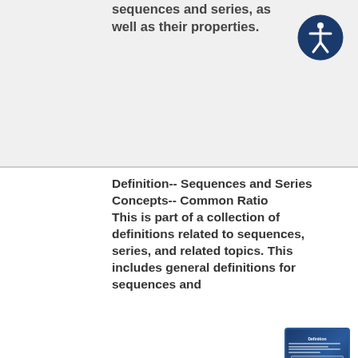sequences and series, as well as their properties.
Definition-- Sequences and Series Concepts-- Common Ratio This is part of a collection of definitions related to sequences, series, and related topics. This includes general definitions for sequences and
Definition-- Sequences and Series Concepts-- Common Ratio
[Figure (screenshot): Thumbnail image of a slide titled 'Definition' showing text content about sequences and series concepts, displayed on a dark blue background with white text and a data table.]
Sequences